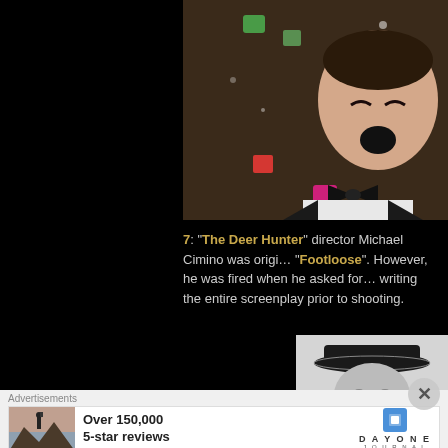[Figure (photo): Movie still from a film showing a man in a tuxedo with bow tie laughing with colorful bokeh lights in the background]
7: "The Deer Hunter" director Michael Cimino was originally set to direct "Footloose". However, he was fired when he asked for writing the entire screenplay prior to shooting.
[Figure (photo): Black and white photo of a man wearing a black fedora hat, smiling slightly]
Advertisements
[Figure (photo): Advertisement banner: person on a mountain taking a photo, with text 'Over 150,000 5-star reviews' and Day One Journal logo]